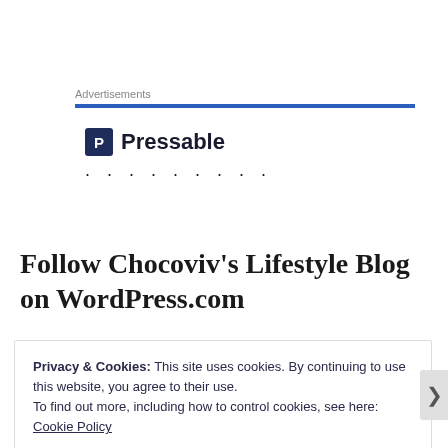Advertisements
[Figure (logo): Pressable logo with dark blue square icon containing letter P and the text 'Pressable' in bold, followed by a row of dots]
Follow Chocoviv’s Lifestyle Blog on WordPress.com
Privacy & Cookies: This site uses cookies. By continuing to use this website, you agree to their use.
To find out more, including how to control cookies, see here: Cookie Policy
Close and accept